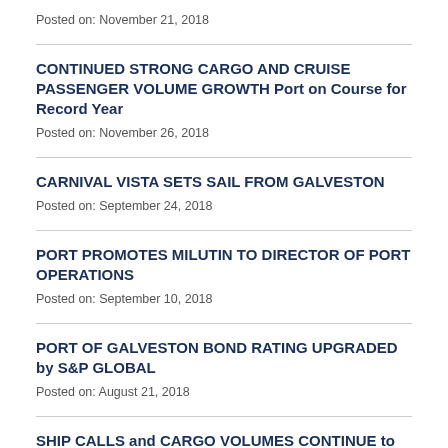Posted on: November 21, 2018
CONTINUED STRONG CARGO AND CRUISE PASSENGER VOLUME GROWTH Port on Course for Record Year
Posted on: November 26, 2018
CARNIVAL VISTA SETS SAIL FROM GALVESTON
Posted on: September 24, 2018
PORT PROMOTES MILUTIN TO DIRECTOR OF PORT OPERATIONS
Posted on: September 10, 2018
PORT OF GALVESTON BOND RATING UPGRADED by S&P GLOBAL
Posted on: August 21, 2018
SHIP CALLS and CARGO VOLUMES CONTINUE to GROW